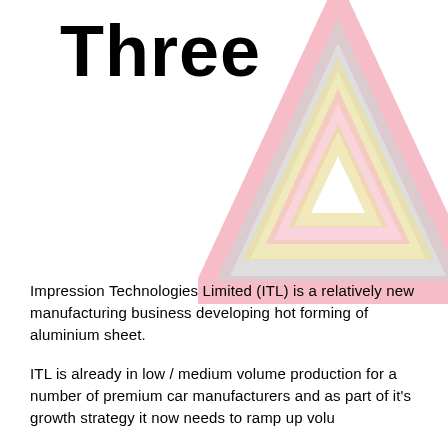Three
[Figure (logo): Decorative nested triangles logo in pink, grey, and yellow tones, partially visible in upper right corner]
Impression Technologies Limited (ITL) is a relatively new manufacturing business developing hot forming of aluminium sheet.
ITL is already in low / medium volume production for a number of premium car manufacturers and as part of it's growth strategy it now needs to ramp up volu...
As part of the volume ramp up process we need t... collect large amounts of data on the HFQ process to